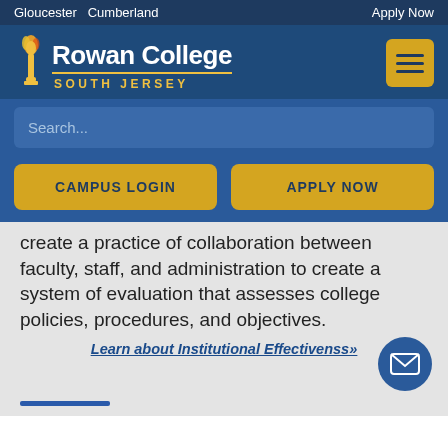Gloucester  Cumberland    Apply Now
[Figure (logo): Rowan College South Jersey logo with torch flame icon and yellow text]
Search...
CAMPUS LOGIN
APPLY NOW
create a practice of collaboration between faculty, staff, and administration to create a system of evaluation that assesses college policies, procedures, and objectives.
Learn about Institutional Effectivenss»